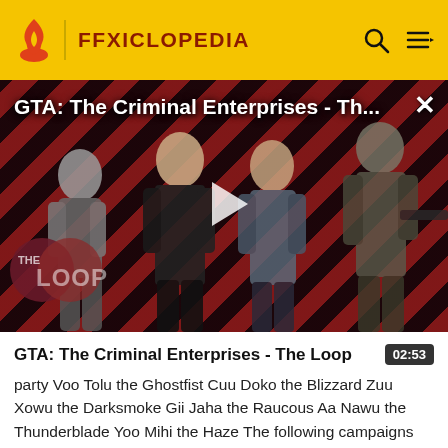FFXICLOPEDIA
[Figure (screenshot): Video thumbnail for GTA: The Criminal Enterprises - The Loop. Shows characters on a diagonal red and black striped background with a play button overlay. THE LOOP logo is visible in lower left. Video title overlaid at top.]
GTA: The Criminal Enterprises - The Loop
party Voo Tolu the Ghostfist Cuu Doko the Blizzard Zuu Xowu the Darksmoke Gii Jaha the Raucous Aa Nawu the Thunderblade Yoo Mihi the Haze The following campaigns will level up during the following periods in appreciation